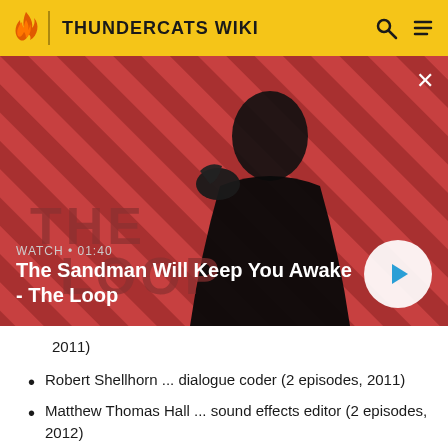THUNDERCATS WIKI
[Figure (screenshot): Video thumbnail showing a man in dark clothing with a raven on his shoulder against a red diagonal-striped background, with 'THE LOOP' text watermark. Watch time 01:40. Title: The Sandman Will Keep You Awake - The Loop]
2011)
Robert Shellhorn ... dialogue coder (2 episodes, 2011)
Matthew Thomas Hall ... sound effects editor (2 episodes, 2012)
James T. Walker ... dialogue coder (1 episode, 2012)